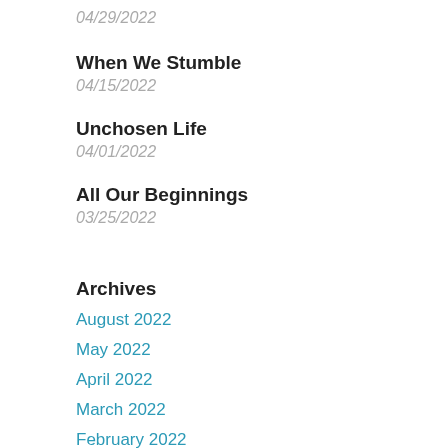04/29/2022
When We Stumble
04/15/2022
Unchosen Life
04/01/2022
All Our Beginnings
03/25/2022
Archives
August 2022
May 2022
April 2022
March 2022
February 2022